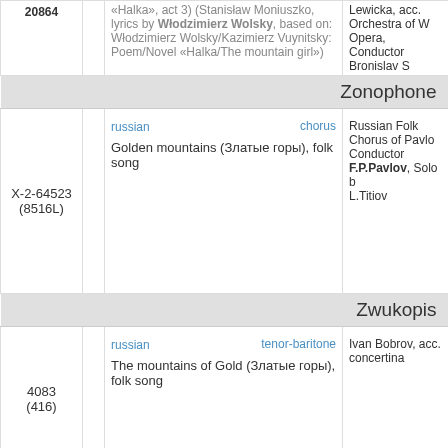| ID |  | Content | Performer |
| --- | --- | --- | --- |
| 20864 |  | «Halka», act 3) (Stanisław Moniuszko, lyrics by Włodzimierz Wolsky, based on: Włodzimierz Wolsky/Kazimierz Vuynitsky: Poem/Novel «Halka/The mountain girl») | Lewicka, acc. Orchestra of W... Opera, Conductor Bronislav S... |
| Zonophone header |  |  |  |
| X-2-64523 (8516L) |  | russian | chorus
Golden mountains (Златые горы), folk song | Russian Folk Chorus of Pavlo... Conductor F.P.Pavlov, Solo b... L.Titiov |
| Zwukopis header |  |  |  |
| 4083 (416) |  | russian | tenor-baritone
The mountains of Gold (Златые горы), folk song | Ivan Bobrov, acc. concertina |
0:00 / 2:35
Filter: All origins | All Ethnics and Languages
About this site • Terms of Use • Privacy Statement • Links • Contact Us • Guestbook